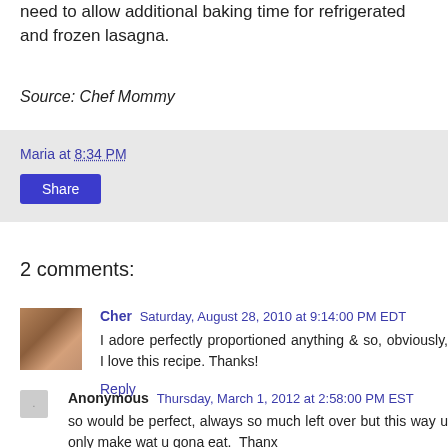need to allow additional baking time for refrigerated and frozen lasagna.
Source: Chef Mommy
Maria at 8:34 PM
Share
2 comments:
Cher Saturday, August 28, 2010 at 9:14:00 PM EDT
I adore perfectly proportioned anything & so, obviously, I love this recipe. Thanks!
Reply
Anonymous Thursday, March 1, 2012 at 2:58:00 PM EST
so would be perfect, always so much left over but this way u only make wat u gona eat.  Thanx